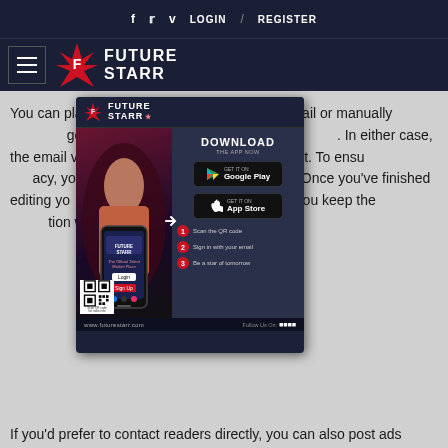f  twitter  v  LOGIN  /  REGISTER
[Figure (logo): FutureStarr logo with hamburger menu icon on dark navy background]
You can place your ad in several different ways: by email or manually. You can change location, upload images, and add a description. In either case, the email version requires your Craigslist account. To ensure your privacy, you can make changes to the posting anytime. Once you've finished editing your ad, you can republish it. Make sure you keep the email communication when you're done.
[Figure (infographic): FutureStarr app download advertisement popup showing phone mockup, DOWNLOAD THE APP NOW text, Google Play and App Store buttons, QR code steps, and www.futurestarr.com URL]
If you'd prefer to contact readers directly, you can also post ads anonymously on Craigslist. If you'd like to avoid being identified as an individual, you can write a detailed description of your item and include pictures. Pictures help buyers decide whether or not they want to contact you. Make sure to check out the Craigslist Terms of Use before you publish your ads on the site.